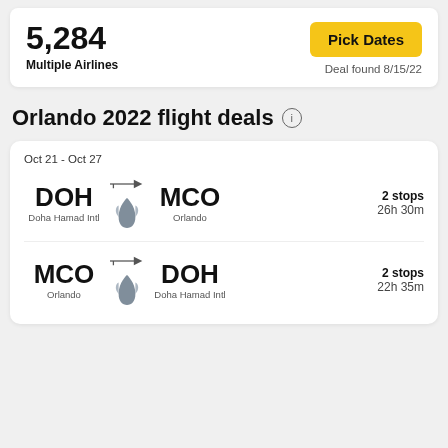5,284
Multiple Airlines
Pick Dates
Deal found 8/15/22
Orlando 2022 flight deals
Oct 21 - Oct 27
DOH → MCO, Doha Hamad Intl → Orlando, 2 stops, 26h 30m
MCO → DOH, Orlando → Doha Hamad Intl, 2 stops, 22h 35m